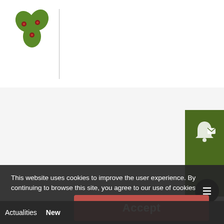[Figure (logo): ÖMKi logo with green leaf/flower shape and text 'ÖMKi' in dark color]
This website uses cookies to improve the user experience. By continuing to browse this site, you agree to our use of cookies.
Accept
Actualities
New